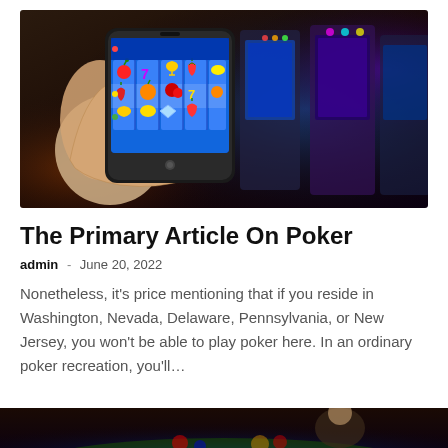[Figure (photo): A hand holding a smartphone displaying a slot machine game with colorful fruit symbols and 7s, with blurred casino slot machines in the background]
The Primary Article On Poker
admin  -  June 20, 2022
Nonetheless, it's price mentioning that if you reside in Washington, Nevada, Delaware, Pennsylvania, or New Jersey, you won't be able to play poker here. In an ordinary poker recreation, you'll…
[Figure (photo): Partial view of a casino table scene, cropped at the bottom of the page]